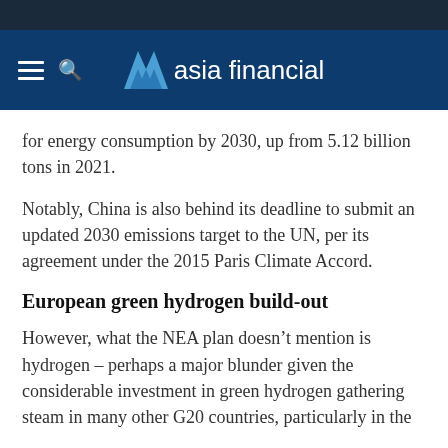asia financial
for energy consumption by 2030, up from 5.12 billion tons in 2021.
Notably, China is also behind its deadline to submit an updated 2030 emissions target to the UN, per its agreement under the 2015 Paris Climate Accord.
European green hydrogen build-out
However, what the NEA plan doesn’t mention is hydrogen – perhaps a major blunder given the considerable investment in green hydrogen gathering steam in many other G20 countries, particularly in the